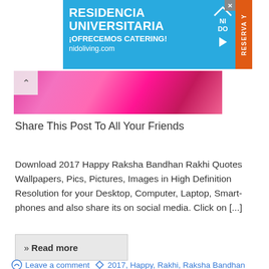[Figure (photo): Blue advertisement banner for Nido Living - Residencia Universitaria with orange RESERVA Y sidebar and play button icon. Text: RESIDENCIA UNIVERSITARIA ¡OFRECEMOS CATERING! nidoliving.com]
[Figure (photo): Pink floral/sparkly image banner (partial, scrolled view) with up-chevron scroll button on left side]
Share This Post To All Your Friends
Download 2017 Happy Raksha Bandhan Rakhi Quotes Wallpapers, Pics, Pictures, Images in High Definition Resolution for your Desktop, Computer, Laptop, Smartphones and also share its on social media. Click on [...]
» Read more
Leave a comment  2017, Happy, Rakhi, Raksha Bandhan